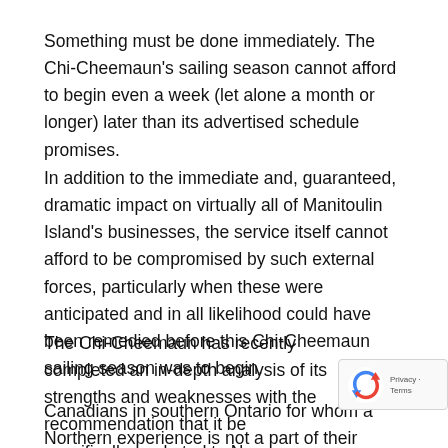Something must be done immediately. The Chi-Cheemaun's sailing season cannot afford to begin even a week (let alone a month or longer) later than its advertised schedule promises.
In addition to the immediate and, guaranteed, dramatic impact on virtually all of Manitoulin Island's businesses, the service itself cannot afford to be compromised by such external forces, particularly when these were anticipated and in all likelihood could have been remedied before this Chi-Cheemaun sailing season was to begin.
The Chi-Cheemaun has recently completed an in-depth analysis of its strengths and weaknesses with the recommendation that it be specifically marketed to N— Canadians in southern Ontario for whom a Northern experience is not a part of their heritage.